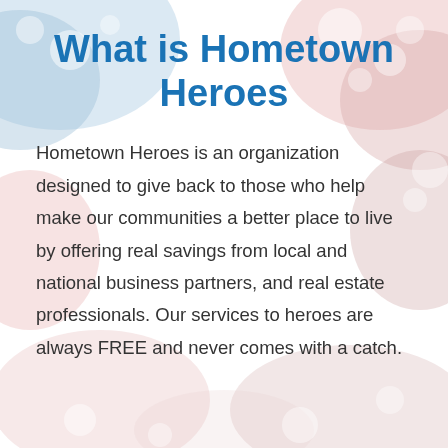[Figure (illustration): Background image with soft bokeh/blurred pattern in red, white, and blue colors resembling a patriotic American flag motif with circular light spots]
What is Hometown Heroes
Hometown Heroes is an organization designed to give back to those who help make our communities a better place to live by offering real savings from local and national business partners, and real estate professionals. Our services to heroes are always FREE and never comes with a catch.